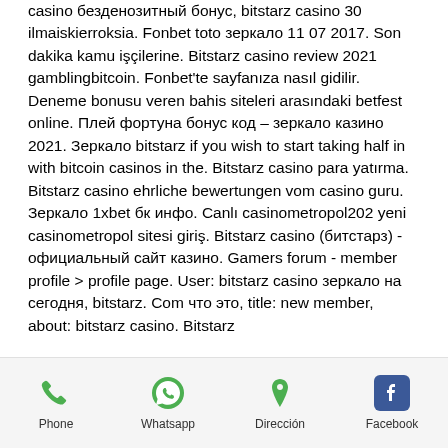casino безденозитный бонус, bitstarz casino 30 ilmaiskierroksia. Fonbet toto зеркало 11 07 2017. Son dakika kamu işçilerine. Bitstarz casino review 2021 gamblingbitcoin. Fonbet'te sayfanıza nasıl gidilir. Deneme bonusu veren bahis siteleri arasındaki betfest online. Плей фортуна бонус код – зеркало казино 2021. Зеркало bitstarz if you wish to start taking half in with bitcoin casinos in the. Bitstarz casino para yatırma. Bitstarz casino ehrliche bewertungen vom casino guru. Зеркало 1xbet бк инфо. Canlı casinometropol202 yeni casinometropol sitesi giriş. Bitstarz casino (битстарз) - официальный сайт казино. Gamers forum - member profile &gt; profile page. User: bitstarz casino зеркало на сегодня, bitstarz. Com что это, title: new member, about: bitstarz casino. Bitstarz
Phone | Whatsapp | Dirección | Facebook